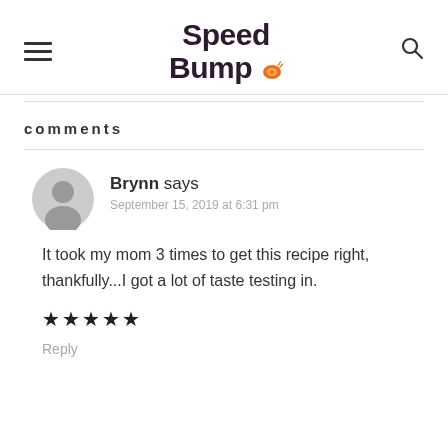Speed Bumpo [logo with snail icon]
comments
Brynn says
September 15, 2019 at 6:31 pm
It took my mom 3 times to get this recipe right, thankfully...I got a lot of taste testing in.
★★★★★
Reply